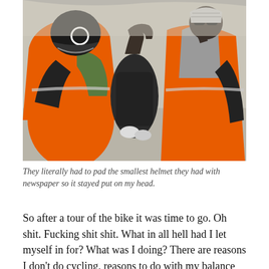[Figure (photo): Two people wearing bright orange high-visibility vests. The person on the left is wearing a black helmet with white markings and bending forward. The person on the right is wearing sunglasses and a grey hoodie under the orange vest. They appear to be adjusting the helmet. Background is a pale grey outdoor surface.]
They literally had to pad the smallest helmet they had with newspaper so it stayed put on my head.
So after a tour of the bike it was time to go. Oh shit. Fucking shit shit. What in all hell had I let myself in for? What was I doing? There are reasons I don't do cycling, reasons to do with my balance or lack thereof and the fact that me and bicycles have a long and deep-seated feud going back years because they are